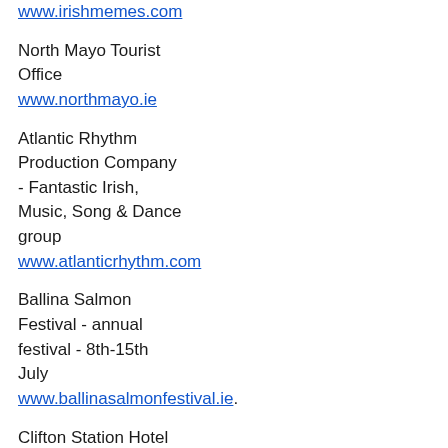www.irishmemes.com
North Mayo Tourist Office
www.northmayo.ie
Atlantic Rhythm Production Company - Fantastic Irish, Music, Song & Dance group
www.atlanticrhythm.com
Ballina Salmon Festival - annual festival - 8th-15th July
www.ballinasalmonfestival.ie.
Clifton Station Hotel